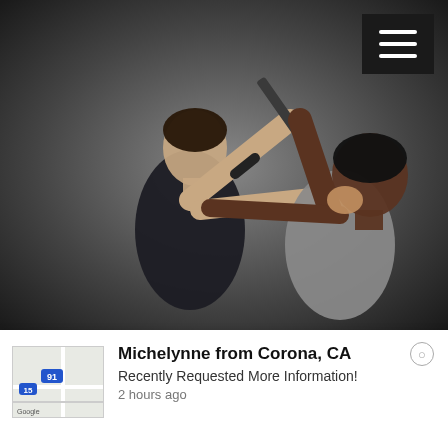[Figure (photo): Two people in a self-defense scenario: a person in dark clothing controls the wrist of another person who is holding a knife overhead, while striking with the other hand to the face. Dark gradient background.]
Michelynne from Corona, CA
Recently Requested More Information!
2 hours ago